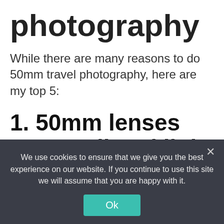photography
While there are many reasons to do 50mm travel photography, here are my top 5:
1. 50mm lenses are small and light
In travel photography, weight is a big issue. You want to carry a light load; this way your travels can be as convenient and comfortable as possible.
We use cookies to ensure that we give you the best experience on our website. If you continue to use this site we will assume that you are happy with it.